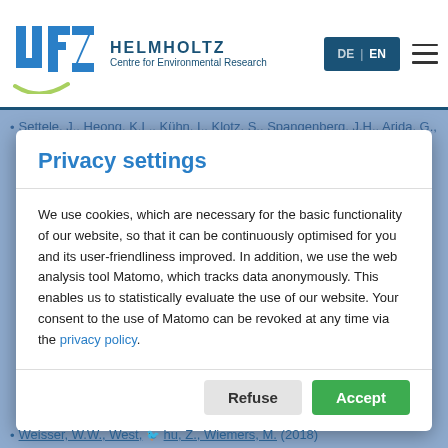UFZ Helmholtz Centre for Environmental Research — DE | EN navigation header
Settele, J., Heong, K.L., Kühn, I., Klotz, S., Spangenberg, J.H., Arida, G., Beaurepaire, A., Beck, S., Bergmeier, E., Burkhard, B., Brandl, R., Bustamante, J.V., Butler, A.
Privacy settings
We use cookies, which are necessary for the basic functionality of our website, so that it can be continuously optimised for you and its user-friendliness improved. In addition, we use the web analysis tool Matomo, which tracks data anonymously. This enables us to statistically evaluate the use of our website. Your consent to the use of Matomo can be revoked at any time via the privacy policy.
Weisser, W.W., West, … hu, Z., Wiemers, M. (2018)